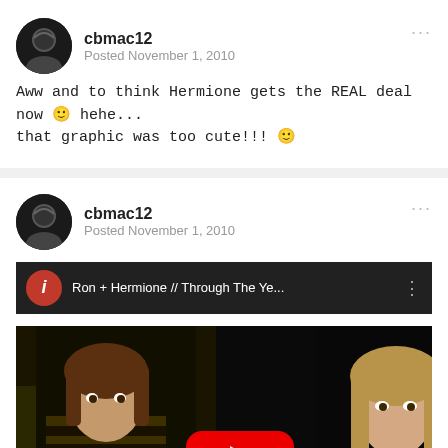cbmac12
Posted November 1, 2010
Aww and to think Hermione gets the REAL deal now 🙂 hehe... that graphic was too cute!!! 🙂
cbmac12
Posted November 1, 2010
[Figure (screenshot): YouTube video thumbnail showing Ron and Hermione from Harry Potter, with video title 'Ron + Hermione // Through The Ye...' and a red YouTube play button overlay]